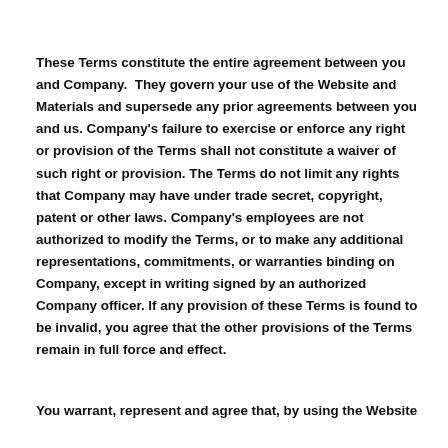These Terms constitute the entire agreement between you and Company.  They govern your use of the Website and Materials and supersede any prior agreements between you and us. Company's failure to exercise or enforce any right or provision of the Terms shall not constitute a waiver of such right or provision. The Terms do not limit any rights that Company may have under trade secret, copyright, patent or other laws. Company's employees are not authorized to modify the Terms, or to make any additional representations, commitments, or warranties binding on Company, except in writing signed by an authorized Company officer. If any provision of these Terms is found to be invalid, you agree that the other provisions of the Terms remain in full force and effect.
You warrant, represent and agree that, by using the Website